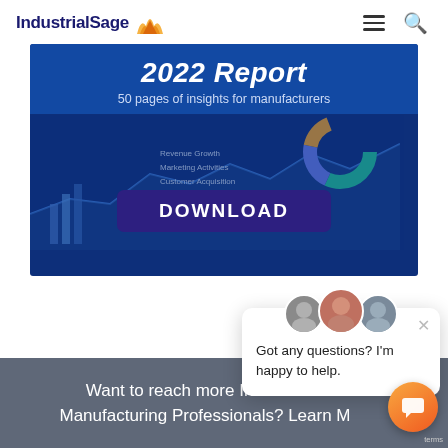IndustrialSage
[Figure (screenshot): 2022 Report banner image with text '50 pages of insights for manufacturers' and a DOWNLOAD button on a dark blue background with chart overlays]
[Figure (photo): Chat popup with three avatar photos and text 'Got any questions? I'm happy to help.' with a close (x) button]
Want to reach more Industrial & Manufacturing Professionals? Learn M